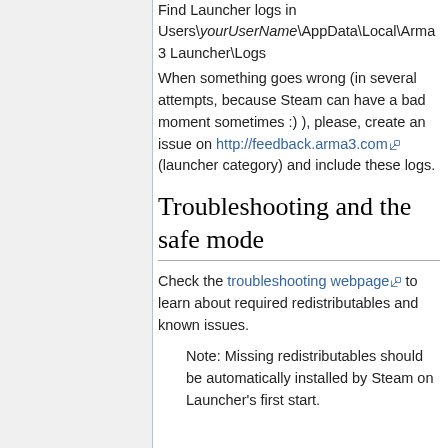Find Launcher logs in Users\yourUserName\AppData\Local\Arma 3 Launcher\Logs
When something goes wrong (in several attempts, because Steam can have a bad moment sometimes :) ), please, create an issue on http://feedback.arma3.com (launcher category) and include these logs.
Troubleshooting and the safe mode
Check the troubleshooting webpage to learn about required redistributables and known issues.
Note: Missing redistributables should be automatically installed by Steam on Launcher's first start.